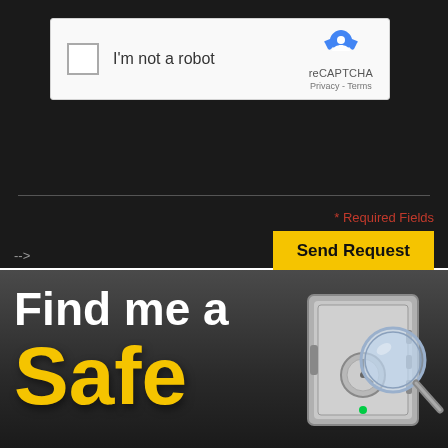[Figure (screenshot): reCAPTCHA widget with checkbox labeled I'm not a robot, Google reCAPTCHA logo and Privacy/Terms links on the right]
* Required Fields
Send Request
-->
[Figure (infographic): Banner advertisement showing Find me a Safe with large white and yellow text on dark background, with an illustration of a safe with a magnifying glass]